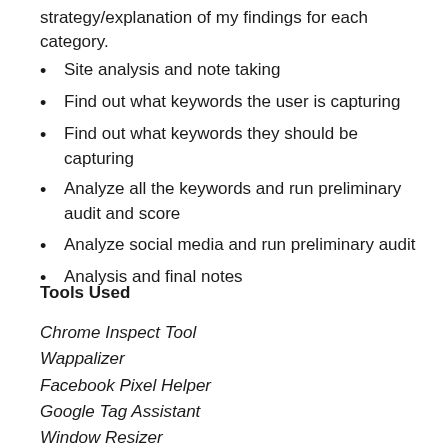strategy/explanation of my findings for each category.
Site analysis and note taking
Find out what keywords the user is capturing
Find out what keywords they should be capturing
Analyze all the keywords and run preliminary audit and score
Analyze social media and run preliminary audit
Analysis and final notes
Tools Used
Chrome Inspect Tool
Wappalizer
Facebook Pixel Helper
Google Tag Assistant
Window Resizer
SEO Spyglass